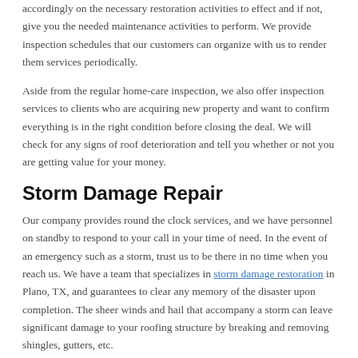accordingly on the necessary restoration activities to effect and if not, give you the needed maintenance activities to perform. We provide inspection schedules that our customers can organize with us to render them services periodically.
Aside from the regular home-care inspection, we also offer inspection services to clients who are acquiring new property and want to confirm everything is in the right condition before closing the deal. We will check for any signs of roof deterioration and tell you whether or not you are getting value for your money.
Storm Damage Repair
Our company provides round the clock services, and we have personnel on standby to respond to your call in your time of need. In the event of an emergency such as a storm, trust us to be there in no time when you reach us. We have a team that specializes in storm damage restoration in Plano, TX, and guarantees to clear any memory of the disaster upon completion. The sheer winds and hail that accompany a storm can leave significant damage to your roofing structure by breaking and removing shingles, gutters, etc.